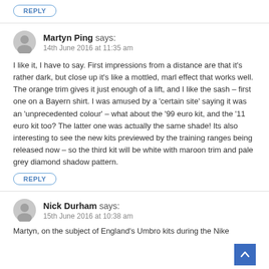REPLY
Martyn Ping says:
14th June 2016 at 11:35 am
I like it, I have to say. First impressions from a distance are that it's rather dark, but close up it's like a mottled, marl effect that works well. The orange trim gives it just enough of a lift, and I like the sash – first one on a Bayern shirt. I was amused by a 'certain site' saying it was an 'unprecedented colour' – what about the '99 euro kit, and the '11 euro kit too? The latter one was actually the same shade! Its also interesting to see the new kits previewed by the training ranges being released now – so the third kit will be white with maroon trim and pale grey diamond shadow pattern.
REPLY
Nick Durham says:
15th June 2016 at 10:38 am
Martyn, on the subject of England's Umbro kits during the Nike...